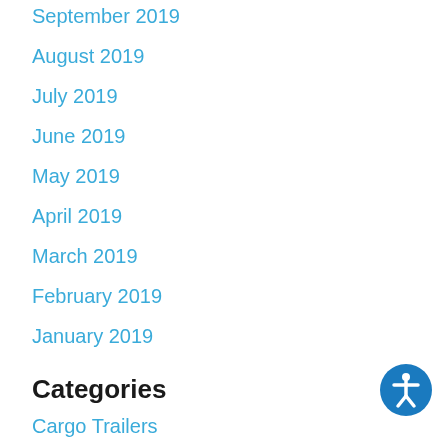September 2019
August 2019
July 2019
June 2019
May 2019
April 2019
March 2019
February 2019
January 2019
Categories
Cargo Trailers
Fifth Wheels
Motorhomes